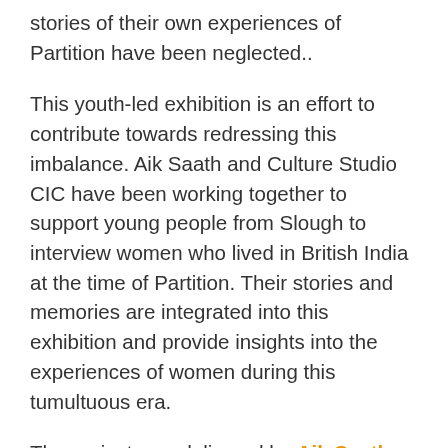stories of their own experiences of Partition have been neglected..
This youth-led exhibition is an effort to contribute towards redressing this imbalance. Aik Saath and Culture Studio CIC have been working together to support young people from Slough to interview women who lived in British India at the time of Partition. Their stories and memories are integrated into this exhibition and provide insights into the experiences of women during this tumultuous era.
The project was delivered by Aik Saath – Together as One and Culture Studio CIC and was